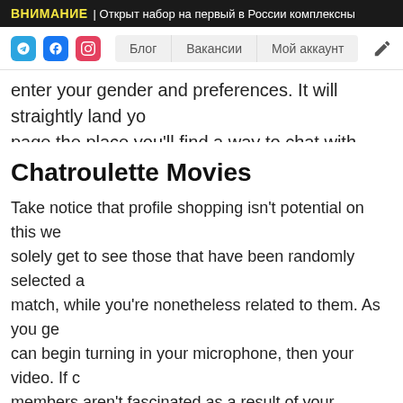ВНИМАНИЕ | Открыт набор на первый в России комплексны
Блог  Вакансии  Мой аккаунт
enter your gender and preferences. It will straightly land yo page the place you'll find a way to chat with other custome
Chatroulette Movies
Take notice that profile shopping isn't potential on this we solely get to see those that have been randomly selected a match, while you're nonetheless related to them. As you ge can begin turning in your microphone, then your video. If c members aren't fascinated as a result of your digicam is in perhaps they are not worth the likelihood, anyway. Wherea uncover Flingster via Facebook, Reddit, and YouTube.
Rivals Of Flingster